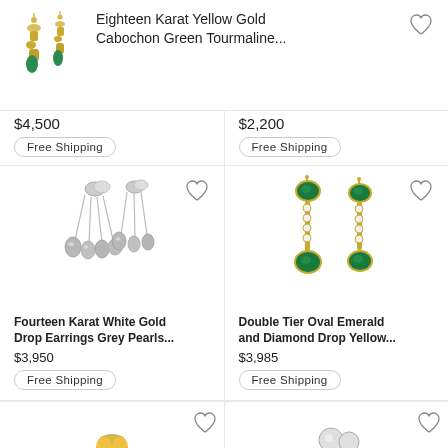[Figure (photo): Eighteen Karat Yellow Gold Cabochon Green Tourmaline earrings product image]
Eighteen Karat Yellow Gold Cabochon Green Tourmaline...
$4,500
Free Shipping
$2,200
Free Shipping
[Figure (photo): Fourteen Karat White Gold Drop Earrings Grey Pearls product image]
Fourteen Karat White Gold Drop Earrings Grey Pearls...
$3,950
Free Shipping
[Figure (photo): Double Tier Oval Emerald and Diamond Drop Yellow earrings product image]
Double Tier Oval Emerald and Diamond Drop Yellow...
$3,985
Free Shipping